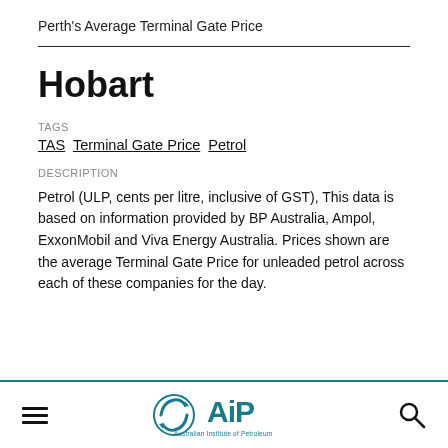Perth's Average Terminal Gate Price
Hobart
TAGS
TAS Terminal Gate Price Petrol
DESCRIPTION
Petrol (ULP, cents per litre, inclusive of GST), This data is based on information provided by BP Australia, Ampol, ExxonMobil and Viva Energy Australia. Prices shown are the average Terminal Gate Price for unleaded petrol across each of these companies for the day.
[Figure (logo): Australian Institute of Petroleum (AiP) logo with a globe-like icon and text 'Australian Institute of Petroleum']
Australian Institute of Petroleum